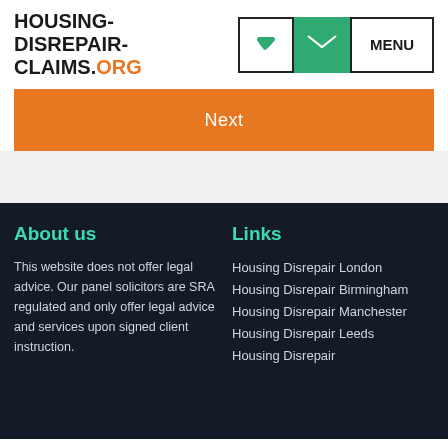HOUSING-DISREPAIR-CLAIMS.ORG
Next
About us
Links
This website does not offer legal advice. Our panel solicitors are SRA regulated and only offer legal advice and services upon signed client instruction.
Housing Disrepair London
Housing Disrepair Birmingham
Housing Disrepair Manchester
Housing Disrepair Leeds
Housing Disrepair